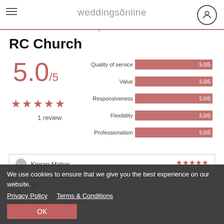weddingsonline
Reviews for Saint Nicholas Of My...
RC Church
[Figure (bar-chart): Ratings]
5.0/5
★★★★★
1 review
Kieran Maher
...an, very professional, suited very well to diffuse...with great selections of songs.
We use cookies to ensure that we give you the best experience on our website.
Privacy Policy   Terms & Conditions
OK